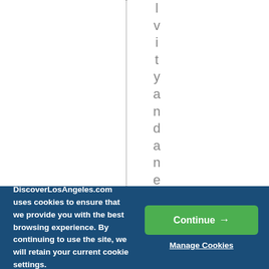l v i t y a n d a n e a r t o t h
DiscoverLosAngeles.com uses cookies to ensure that we provide you with the best browsing experience. By continuing to use the site, we will retain your current cookie settings.
Continue →
Manage Cookies